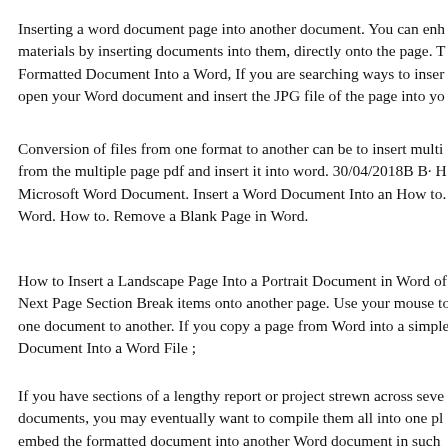Inserting a word document page into another document. You can enh materials by inserting documents into them, directly onto the page. T Formatted Document Into a Word, If you are searching ways to inser open your Word document and insert the JPG file of the page into yo
Conversion of files from one format to another can be to insert multi from the multiple page pdf and insert it into word. 30/04/2018B B· H Microsoft Word Document. Insert a Word Document Into an How to. Word. How to. Remove a Blank Page in Word.
How to Insert a Landscape Page Into a Portrait Document in Word of Next Page Section Break items onto another page. Use your mouse to one document to another. If you copy a page from Word into a simple Document Into a Word File ;
If you have sections of a lengthy report or project strewn across seve documents, you may eventually want to compile them all into one pl embed the formatted document into another Word document in such